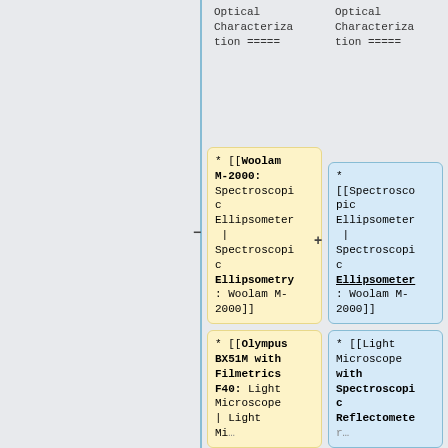Optical Characterization =====
Optical Characterization =====
* [[Woolam M-2000: Spectroscopic Ellipsometer | Spectroscopic Ellipsometry: Woolam M-2000]]
* [[Spectroscopic Ellipsometer | Spectroscopic Ellipsometer: Woolam M-2000]]
* [[Olympus BX51M with Filmetrics F40: Light Microscope | Light Microscope...
* [[Light Microscope with Spectroscopic Reflectometer...